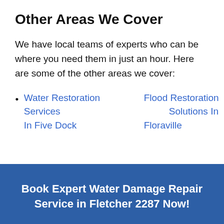Other Areas We Cover
We have local teams of experts who can be where you need them in just an hour. Here are some of the other areas we cover:
Water Restoration Services In Five Dock • Flood Restoration Solutions In Floraville
Book Expert Water Damage Repair Service in Fletcher 2287 Now!